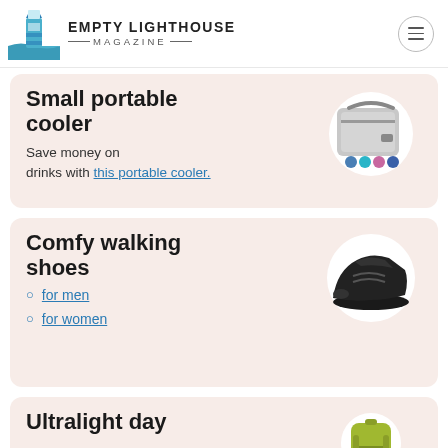EMPTY LIGHTHOUSE MAGAZINE
Small portable cooler
Save money on drinks with this portable cooler.
Comfy walking shoes
for men
for women
Ultralight day